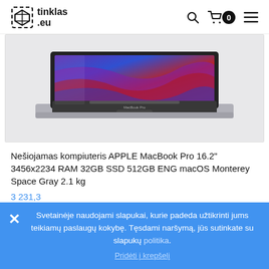tinklas.eu
[Figure (photo): MacBook Pro laptop computer shown from slightly above, open, displaying colorful macOS wallpaper with purple, red and blue waves. Device is silver/space gray.]
Nešiojamas kompiuteris APPLE MacBook Pro 16.2" 3456x2234 RAM 32GB SSD 512GB ENG macOS Monterey Space Gray 2.1 kg
3 231,3
Pridėti į krepšelį
Svetainėje naudojami slapukai, kurie padeda užtikrinti jums teikiamų paslaugų kokybę. Tęsdami naršymą, jūs sutinkate su slapukų politika.